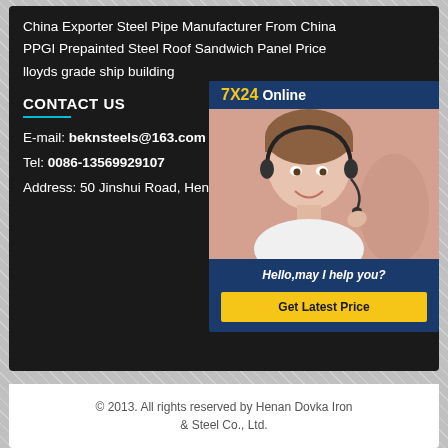China Exporter Steel Pipe Manufacturer From China
PPGI Prepainted Steel Roof Sandwich Panel Price
lloyds grade ship building
CONTACT US
E-mail: beknsteels@163.com
Tel: 0086-13569929107
Address: 50 Jinshui Road, Henan, China
[Figure (photo): Customer service representative wearing a headset, smiling, with 7X24 Online badge and Hello, may I help you? text and Get Latest Price button]
© 2013. All rights reserved by Henan Dovka Iron & Steel Co., Ltd.